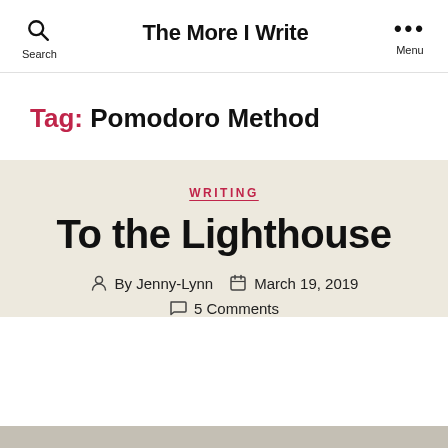The More I Write
Tag: Pomodoro Method
WRITING
To the Lighthouse
By Jenny-Lynn   March 19, 2019   5 Comments